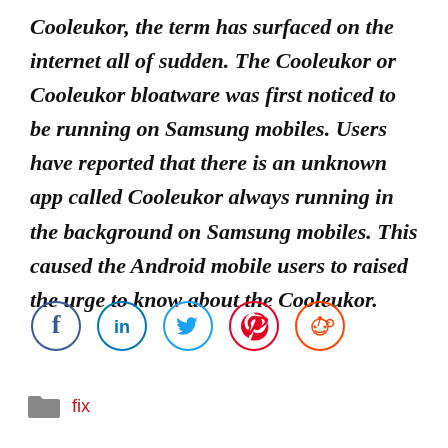Cooleukor, the term has surfaced on the internet all of sudden. The Cooleukor or Cooleukor bloatware was first noticed to be running on Samsung mobiles. Users have reported that there is an unknown app called Cooleukor always running in the background on Samsung mobiles. This caused the Android mobile users to raised the urge to know about the Cooleukor.
[Figure (other): Social sharing icons: Facebook (blue circle with f), LinkedIn (blue circle with in), Twitter (blue circle with bird), Pinterest (red circle with P), Reddit (orange circle with alien mascot)]
fix